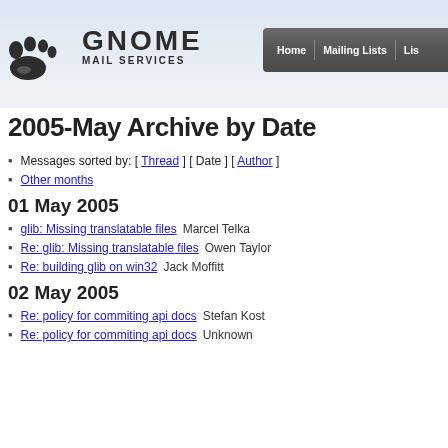[Figure (logo): GNOME Mail Services logo with GNOME footprint icon and text]
Home  Mailing Lists  Lis...
2005-May Archive by Date
Messages sorted by: [ Thread ] [ Date ] [ Author ]
Other months
01 May 2005
glib: Missing translatable files  Marcel Telka
Re: glib: Missing translatable files  Owen Taylor
Re: building glib on win32  Jack Moffitt
02 May 2005
Re: policy for commiting api docs  Stefan Kost
Re: policy for commiting api docs  Unknown